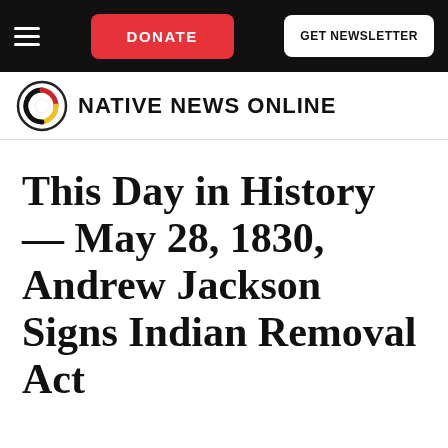DONATE  GET NEWSLETTER
[Figure (logo): Native News Online logo with circular symbol in black, red, yellow, and white, and bold uppercase text 'NATIVE NEWS ONLINE']
This Day in History — May 28, 1830, Andrew Jackson Signs Indian Removal Act